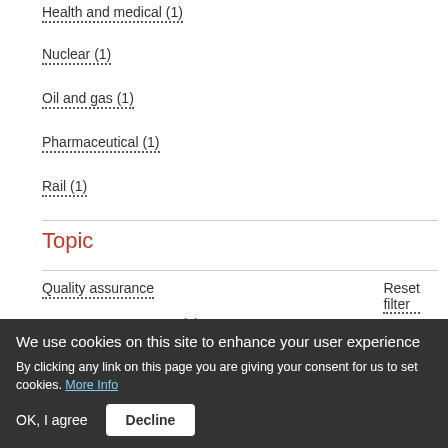Health and medical (1)
Nuclear (1)
Oil and gas (1)
Pharmaceutical (1)
Rail (1)
Topic
Quality assurance
Reset filter
Process Improvement (4)
Process management (4)
We use cookies on this site to enhance your user experience
By clicking any link on this page you are giving your consent for us to set cookies. More Info
OK, I agree  Decline